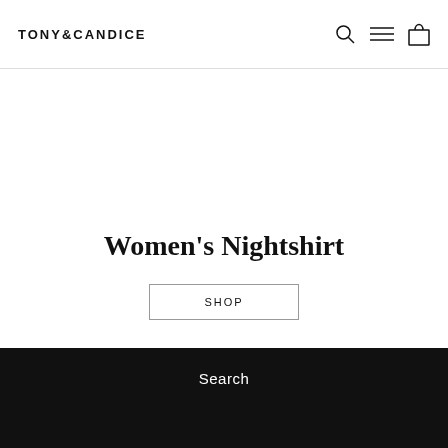TONY&CANDICE
Women's Nightshirt
SHOP
Search